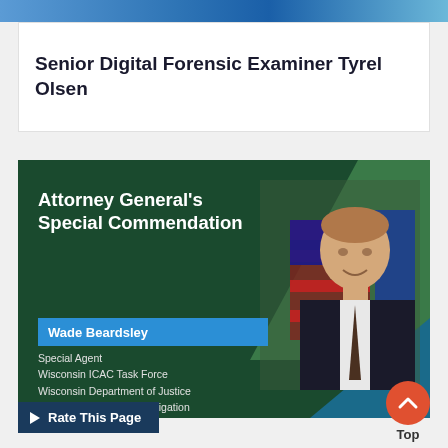Senior Digital Forensic Examiner Tyrel Olsen
[Figure (photo): Attorney General's Special Commendation award graphic featuring Wade Beardsley, Special Agent, Wisconsin ICAC Task Force, Wisconsin Department of Justice, Division of Criminal Investigation, Madison, WI. Dark green background with person photo on right side, blue name bar, and department details.]
Rate This Page